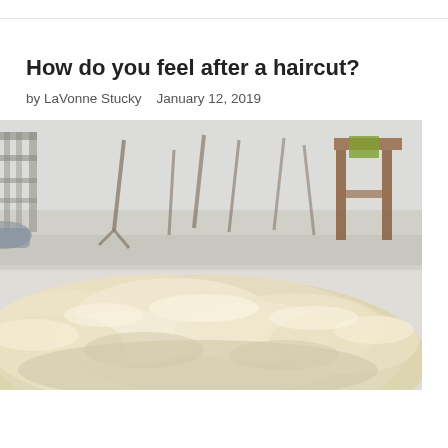How do you feel after a haircut?
by LaVonne Stucky   January 12, 2019
[Figure (photo): A large pile of freshly shorn sheep wool (fleece) laid out outdoors on a snowy winter day. In the background there is a wire fence/cage on the left, bare winter trees and branches, snow-covered ground, and a wooden stool or stand on the right side.]